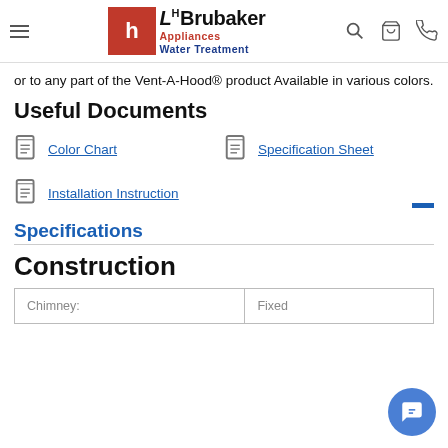LH Brubaker Appliances Water Treatment
or to any part of the Vent-A-Hood® product Available in various colors.
Useful Documents
Color Chart
Specification Sheet
Installation Instruction
Specifications
Construction
| Chimney: | Fixed |
| --- | --- |